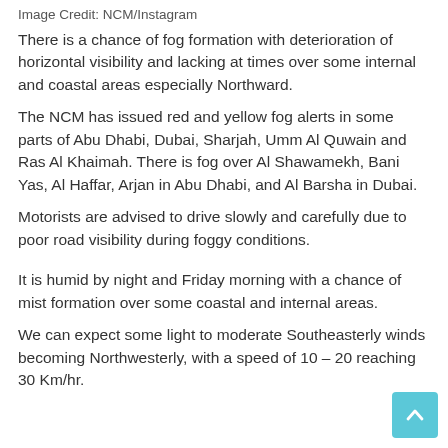Image Credit: NCM/Instagram
There is a chance of fog formation with deterioration of horizontal visibility and lacking at times over some internal and coastal areas especially Northward.
The NCM has issued red and yellow fog alerts in some parts of Abu Dhabi, Dubai, Sharjah, Umm Al Quwain and Ras Al Khaimah. There is fog over Al Shawamekh, Bani Yas, Al Haffar, Arjan in Abu Dhabi, and Al Barsha in Dubai.
Motorists are advised to drive slowly and carefully due to poor road visibility during foggy conditions.
It is humid by night and Friday morning with a chance of mist formation over some coastal and internal areas.
We can expect some light to moderate Southeasterly winds becoming Northwesterly, with a speed of 10 – 20 reaching 30 Km/hr.